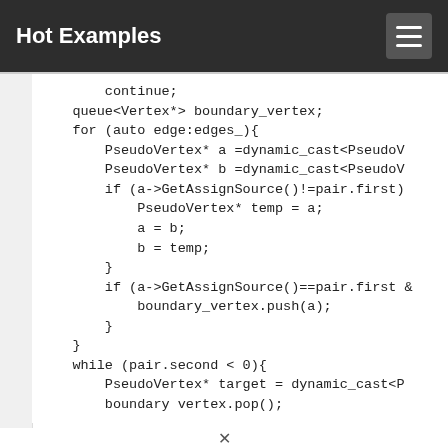Hot Examples
[Figure (screenshot): Code snippet showing C++ source code with queue, for loop, PseudoVertex casts, GetAssignSource comparisons, boundary_vertex push, and while loop]
navigation arrow